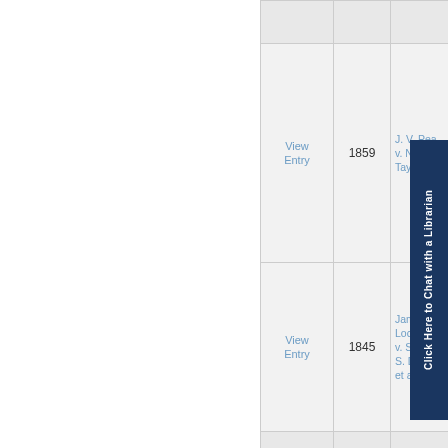|  | Year | Case |
| --- | --- | --- |
| View Entry | 1859 | J. V. Pea... v. Nancy... Taylor |
| View Entry | 1845 | James W. Locke, e... v. Sydne... S. Dudney, et al. |